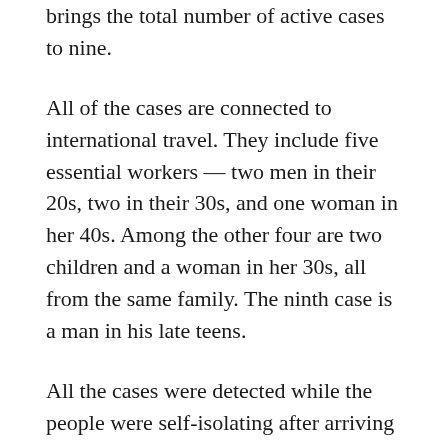brings the total number of active cases to nine.
All of the cases are connected to international travel. They include five essential workers — two men in their 20s, two in their 30s, and one woman in her 40s. Among the other four are two children and a woman in her 30s, all from the same family. The ninth case is a man in his late teens.
All the cases were detected while the people were self-isolating after arriving on P.E.I.
“I am reassured that our existing systems and protocols are effective in limiting transmission of COVID-19. I’m confident these cases have been contained,” said Morrison.
“Given the nine new cases respected the need to self-